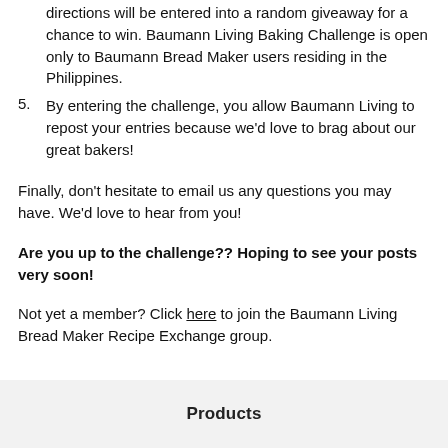Every person who submits a photo following the complete directions will be entered into a random giveaway for a chance to win. Baumann Living Baking Challenge is open only to Baumann Bread Maker users residing in the Philippines.
5. By entering the challenge, you allow Baumann Living to repost your entries because we'd love to brag about our great bakers!
Finally, don't hesitate to email us any questions you may have.  We'd love to hear from you!
Are you up to the challenge??  Hoping to see your posts very soon!
Not yet a member? Click here to join the Baumann Living Bread Maker Recipe Exchange group.
Products